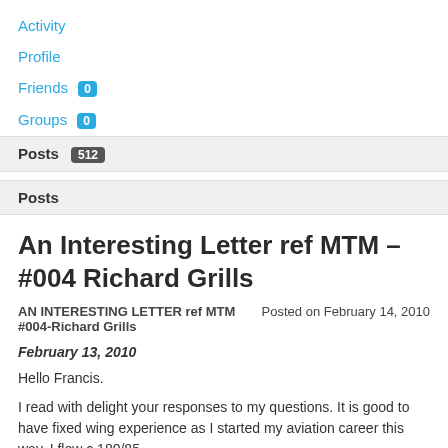Activity
Profile
Friends 0
Groups 0
Posts 512
Posts
An Interesting Letter ref MTM – #004 Richard Grills
AN INTERESTING LETTER ref MTM #004-Richard Grills
Posted on February 14, 2010
February 13, 2010
Hello Francis.
I read with delight your responses to my questions. It is good to have fixed wing experience as I started my aviation career this way. I flew c 180/85